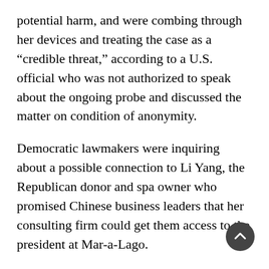potential harm, and were combing through her devices and treating the case as a “credible threat,” according to a U.S. official who was not authorized to speak about the ongoing probe and discussed the matter on condition of anonymity.
Democratic lawmakers were inquiring about a possible connection to Li Yang, the Republican donor and spa owner who promised Chinese business leaders that her consulting firm could get them access to the president at Mar-a-Lago.
Democrats on Wednesday called for an investigation into security at Mar-a-Lago, and whether classified information stored there is at risk from hostile foreign governments. House Oversight Committee Chairman Elijah Cummings, D-Md., said he would get a briefing Thursday from the Secret Service.